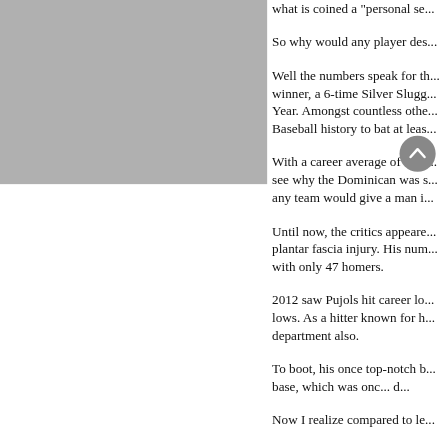[Figure (other): Gray panel occupying the left portion of the page]
what is coined a "personal se...
So why would any player des...
Well the numbers speak for th... winner, a 6-time Silver Slugg... Year. Amongst countless othe... Baseball history to bat at leas...
With a career average of .321... see why the Dominican was s... any team would give a man i...
Until now, the critics appeare... plantar fascia injury. His num... with only 47 homers.
2012 saw Pujols hit career lo... lows. As a hitter known for h... department also.
To boot, his once top-notch b... base, which was onc... d...
Now I realize compared to le...